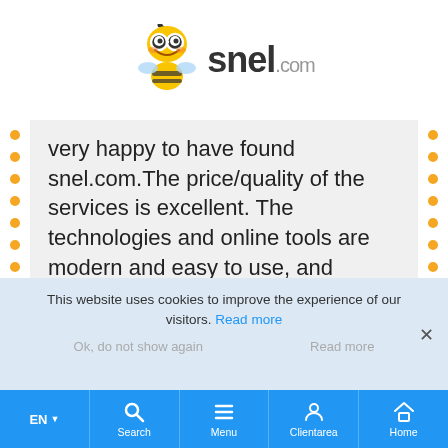[Figure (logo): snel.com logo with cartoon bee mascot wearing glasses]
very happy to have found snel.com.The price/quality of the services is excellent. The technologies and online tools are modern and easy to use, and support issues and questions were handled quickly and adequately. I definitely recommend snel.com.
This website uses cookies to improve the experience of our visitors. Read more
Ok, do not show again
Read more
EN | Search | Menu | Clientarea | Home